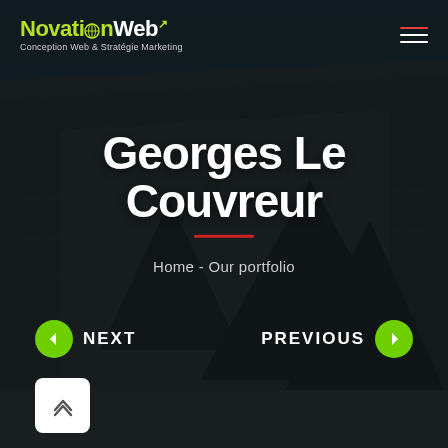[Figure (screenshot): Website screenshot showing NovationWeb portfolio page for Georges Le Couvreur. Dark overlay on rooftop background image. Header with NovationWeb logo and hamburger menu. Large white bold title 'Georges Le Couvreur' with red underline. Breadcrumb 'Home - Our portfolio'. Navigation arrows NEXT and PREVIOUS. Scroll-up button bottom left.]
NovationWeb - Conception Web & Stratégie Marketing
Georges Le Couvreur
Home - Our portfolio
← NEXT
PREVIOUS →